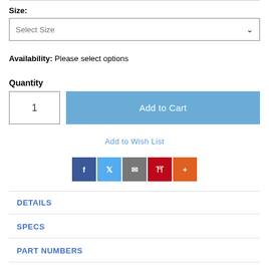Size:
Select Size
Availability: Please select options
Quantity
1
Add to Cart
Add to Wish List
[Figure (other): Social sharing icons: Facebook (blue), Twitter (light blue), Email (gray), Pinterest (red), More (orange)]
DETAILS
SPECS
PART NUMBERS